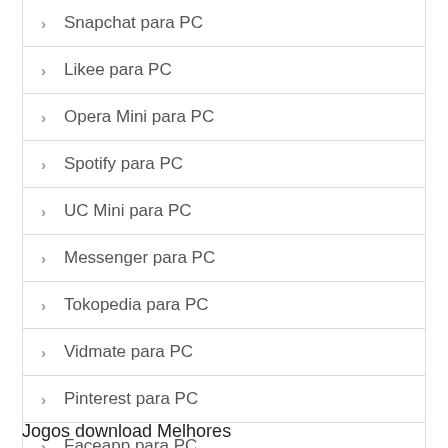Snapchat para PC
Likee para PC
Opera Mini para PC
Spotify para PC
UC Mini para PC
Messenger para PC
Tokopedia para PC
Vidmate para PC
Pinterest para PC
Faceapp para PC
Jogos download Melhores